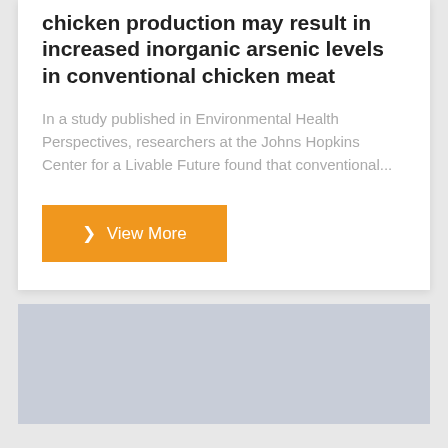chicken production may result in increased inorganic arsenic levels in conventional chicken meat
In a study published in Environmental Health Perspectives, researchers at the Johns Hopkins Center for a Livable Future found that conventional...
[Figure (other): Orange button labeled '> View More']
[Figure (other): Light blue-grey placeholder image block at the bottom of the page]